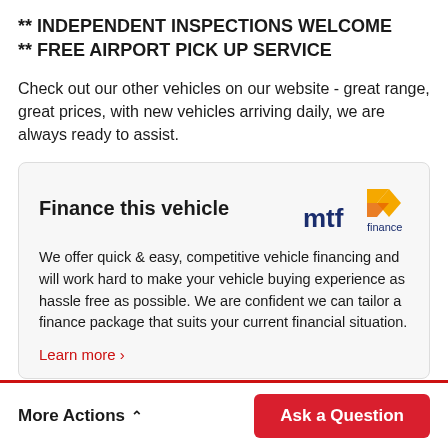** INDEPENDENT INSPECTIONS WELCOME
** FREE AIRPORT PICK UP SERVICE
Check out our other vehicles on our website - great range, great prices, with new vehicles arriving daily, we are always ready to assist.
Finance this vehicle
We offer quick & easy, competitive vehicle financing and will work hard to make your vehicle buying experience as hassle free as possible. We are confident we can tailor a finance package that suits your current financial situation.
Learn more ›
More Actions ∧
Ask a Question